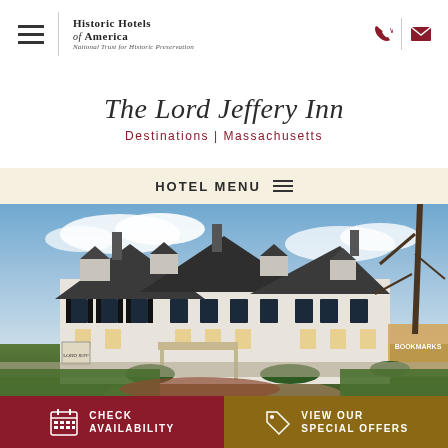Historic Hotels of America | National Trust for Historic Preservation
The Lord Jeffery Inn
Destinations | Massachusetts
HOTEL MENU
[Figure (photo): Exterior photograph of The Lord Jeffery Inn, a large white colonial-style hotel building with black shutters, multiple dormers, chimneys, and a covered entrance, set against a partly cloudy sky with trees in the background]
CHECK AVAILABILITY
VIEW OUR SPECIAL OFFERS